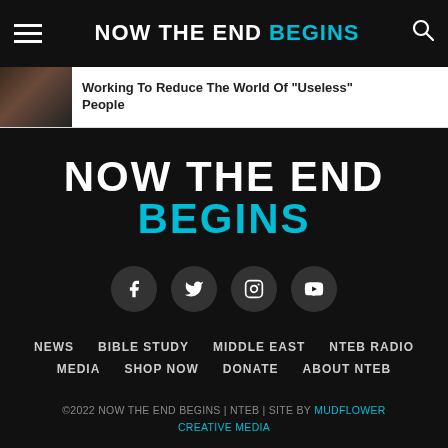NOW THE END BEGINS
Working To Reduce The World Of "Useless" People
[Figure (logo): NOW THE END BEGINS large footer logo in white and cyan]
[Figure (infographic): Social media icons: Facebook, Twitter, Instagram, YouTube — white icons on dark circular backgrounds]
NEWS  BIBLE STUDY  MIDDLE EAST  NTEB RADIO
MEDIA  SHOP NOW  DONATE  ABOUT NTEB
©2022 NOW THE END BEGINS | NTEB | SITE BY MUDFLOWER CREATIVE MEDIA